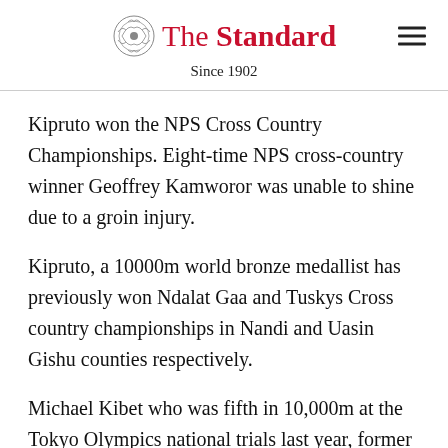The Standard — Since 1902
Kipruto won the NPS Cross Country Championships. Eight-time NPS cross-country winner Geoffrey Kamworor was unable to shine due to a groin injury.
Kipruto, a 10000m world bronze medallist has previously won Ndalat Gaa and Tuskys Cross country championships in Nandi and Uasin Gishu counties respectively.
Michael Kibet who was fifth in 10,000m at the Tokyo Olympics national trials last year, former